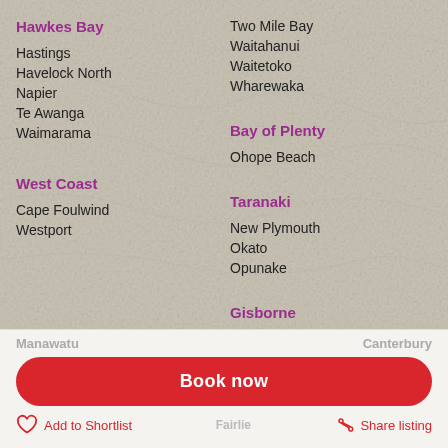[Figure (map): Map background of New Zealand with location listings overlay]
Hawkes Bay
Hastings
Havelock North
Napier
Te Awanga
Waimarama
Two Mile Bay
Waitahanui
Waitetoko
Wharewaka
Bay of Plenty
Ohope Beach
West Coast
Cape Foulwind
Westport
Taranaki
New Plymouth
Okato
Opunake
Gisborne
Manawatu
Canterbury
Book now
Add to Shortlist
Share listing